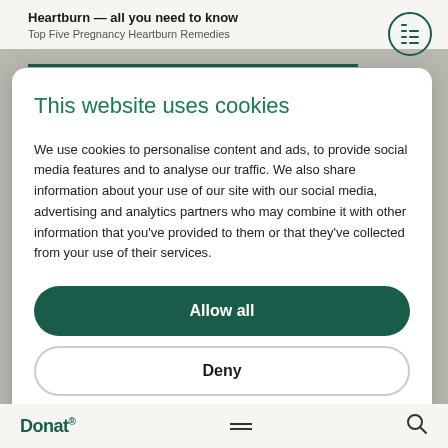Heartburn — all you need to know
Top Five Pregnancy Heartburn Remedies
This website uses cookies
We use cookies to personalise content and ads, to provide social media features and to analyse our traffic. We also share information about your use of our site with our social media, advertising and analytics partners who may combine it with other information that you've provided to them or that they've collected from your use of their services.
Allow all
Deny
Show details
Donat